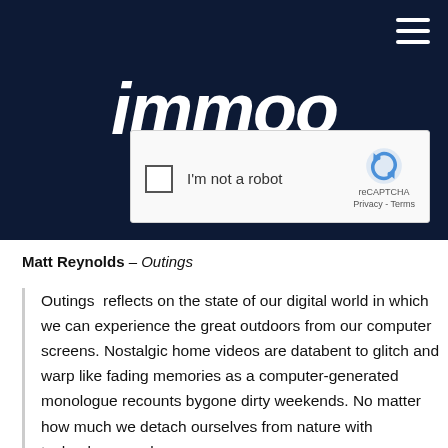[Figure (screenshot): Dark navy blue banner with large white bold italic logo text reading 'immoo' and a reCAPTCHA widget overlay with checkbox 'I'm not a robot', reCAPTCHA branding, Privacy and Terms links. A hamburger menu icon is in the top-right corner.]
Matt Reynolds – Outings
Outings  reflects on the state of our digital world in which we can experience the great outdoors from our computer screens. Nostalgic home videos are databent to glitch and warp like fading memories as a computer-generated monologue recounts bygone dirty weekends. No matter how much we detach ourselves from nature with technology, our base